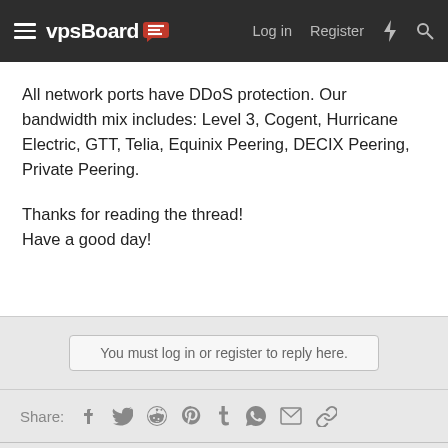vpsBoard — Log in  Register
All network ports have DDoS protection. Our bandwidth mix includes: Level 3, Cogent, Hurricane Electric, GTT, Telia, Equinix Peering, DECIX Peering, Private Peering.

Thanks for reading the thread!
Have a good day!
You must log in or register to reply here.
Share:
< Dedicated Server Offers
vpsBoard 1.5  Web Hosting by KnownHost
Contact us  Terms and rules  Privacy policy  Help
Community platform by XenForo® © 2010-2021 XenForo Ltd.